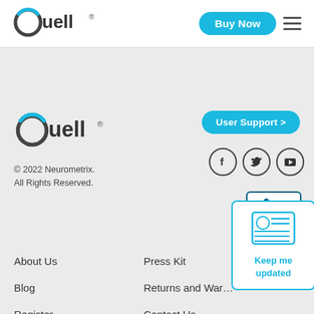[Figure (logo): Quell logo in header — circular Q with cyan arc, dark text 'uell' with registered mark]
Buy Now
[Figure (illustration): Hamburger menu icon (three horizontal lines)]
[Figure (logo): Quell logo in footer — same circular Q with cyan arc, dark text 'uell' with registered mark]
© 2022 Neurometrix.
All Rights Reserved.
User Support >
[Figure (illustration): Social media icons: Facebook (f), Twitter (bird), YouTube (play triangle) — each in a circle]
[Figure (logo): BBB (Better Business Bureau) badge]
[Figure (illustration): Newsletter icon (newspaper with circle and lines) above 'Keep me updated' text in cyan]
About Us
Blog
Register
Privacy Policy
Press Kit
Returns and War…
Contact Us
Terms of Use